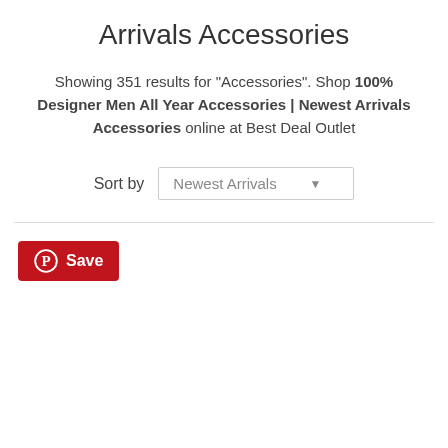Arrivals Accessories
Showing 351 results for "Accessories". Shop 100% Designer Men All Year Accessories | Newest Arrivals Accessories online at Best Deal Outlet
Sort by   Newest Arrivals ▼
[Figure (other): Pinterest Save button with Pinterest logo icon]